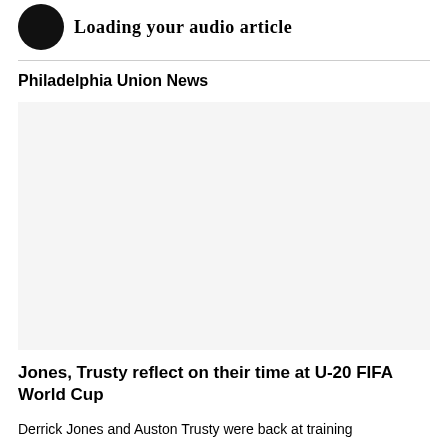Loading your audio article
Philadelphia Union News
[Figure (photo): Large image placeholder for a Philadelphia Union news article]
Jones, Trusty reflect on their time at U-20 FIFA World Cup
Derrick Jones and Auston Trusty were back at training